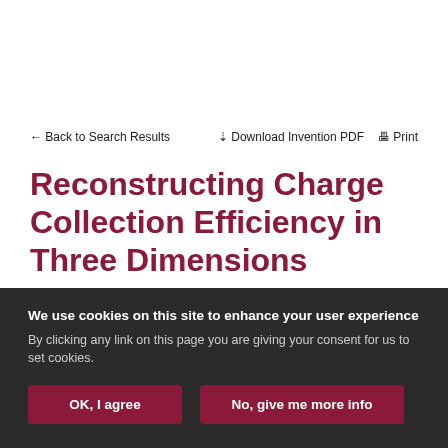← Back to Search Results   ⬇ Download Invention PDF   🖨 Print
Reconstructing Charge Collection Efficiency in Three Dimensions
Description:
We use cookies on this site to enhance your user experience
By clicking any link on this page you are giving your consent for us to set cookies.
OK, I agree   No, give me more info